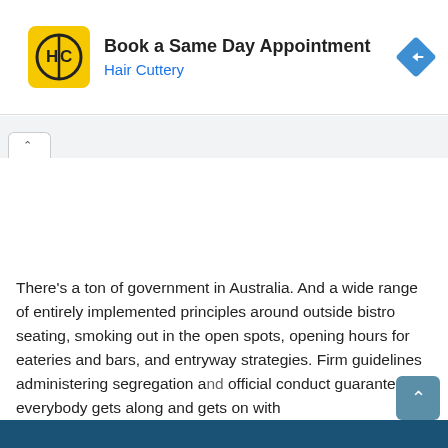[Figure (screenshot): Hair Cuttery advertisement banner with yellow logo, title 'Book a Same Day Appointment', subtitle 'Hair Cuttery' in blue, and a blue navigation/directions diamond icon on the right.]
There's a ton of government in Australia. And a wide range of entirely implemented principles around outside bistro seating, smoking out in the open spots, opening hours for eateries and bars, and entryway strategies. Firm guidelines administering segregation and official conduct guarantees everybody gets along and gets on with